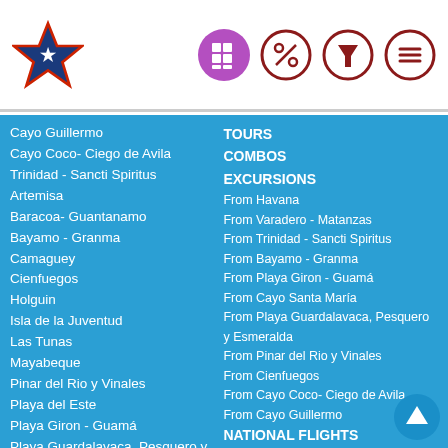Navigation header with star logo and icons for hotel/grid, percent, filter, and menu
Cayo Guillermo
Cayo Coco- Ciego de Avila
Trinidad - Sancti Spiritus
Artemisa
Baracoa- Guantanamo
Bayamo - Granma
Camaguey
Cienfuegos
Holguin
Isla de la Juventud
Las Tunas
Mayabeque
Pinar del Rio y Vinales
Playa del Este
Playa Giron - Guamá
Playa Guardalavaca, Pesquero y Esmeralda
Playa Santa Lucia
Santa Clara- Remedios
TOURS
COMBOS
EXCURSIONS
From Havana
From Varadero - Matanzas
From Trinidad - Sancti Spiritus
From Bayamo - Granma
From Playa Giron - Guamá
From Cayo Santa María
From Playa Guardalavaca, Pesquero y Esmeralda
From Pinar del Rio y Vinales
From Cienfuegos
From Cayo Coco- Ciego de Avila
From Cayo Guillermo
NATIONAL FLIGHTS